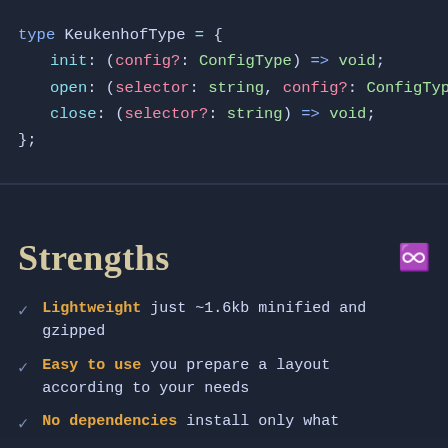[Figure (screenshot): Code block showing TypeScript type definition for KeukenhofType with init, open, and close method signatures on a dark background.]
Strengths
Lightweight just ~1.6kb minified and gzipped
Easy to use you prepare a layout according to your needs
No dependencies install only what